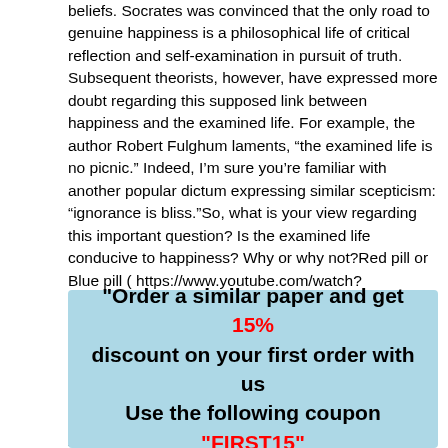beliefs.  Socrates was convinced that the only road to genuine happiness is a philosophical life of critical reflection and self-examination in pursuit of truth.  Subsequent theorists, however, have expressed more doubt regarding this supposed link between happiness and the examined life.  For example, the author Robert Fulghum laments, “the examined life is no picnic.”  Indeed, I’m sure you’re familiar with another popular dictum expressing similar scepticism: “ignorance is bliss.”So, what is your view regarding this important question?  Is the examined life conducive to happiness?  Why or why not?Red pill or Blue pill ( https://www.youtube.com/watch?v=zE7PKRjrid4 )The trial of socrates ( https://www.youtube.com/watch?v=380KSdkV6zY )Pre socratics Part 1 ( https://www.youtube.com/watch?v=83kUMEjaCUA )Pre socratics Part 2 ( https://www.youtube.com/watch?v=_IRy3E-BZhY )Pre socratics Part 3 ( https://www.youtube.com/watch?v=qVrwRHSIRIg )
"Order a similar paper and get 15% discount on your first order with us Use the following coupon "FIRST15"